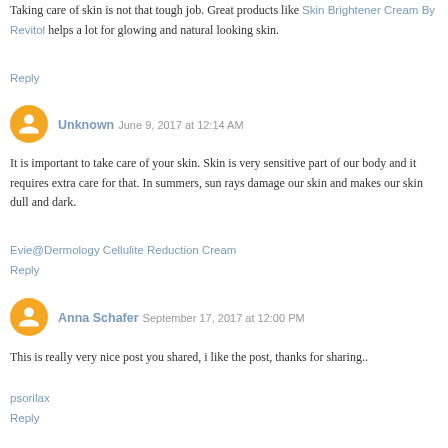Taking care of skin is not that tough job. Great products like Skin Brightener Cream By Revitol helps a lot for glowing and natural looking skin.
Reply
Unknown June 9, 2017 at 12:14 AM
It is important to take care of your skin. Skin is very sensitive part of our body and it requires extra care for that. In summers, sun rays damage our skin and makes our skin dull and dark.
Evie@Dermology Cellulite Reduction Cream
Reply
Anna Schafer September 17, 2017 at 12:00 PM
This is really very nice post you shared, i like the post, thanks for sharing..
psorilax
Reply